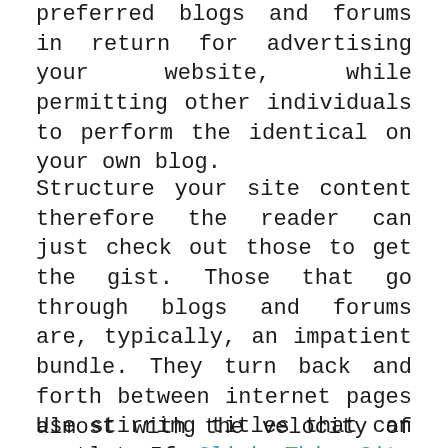preferred blogs and forums in return for advertising your website, while permitting other individuals to perform the identical on your own blog.
Structure your site content therefore the reader can just check out those to get the gist. Those that go through blogs and forums are, typically, an impatient bundle. They turn back and forth between internet pages almost with the velocity of gentle. If Click This Site wish to obtain your message over, give them something that will capture their attention with only a fast scan.
Use stirring titles that can generate